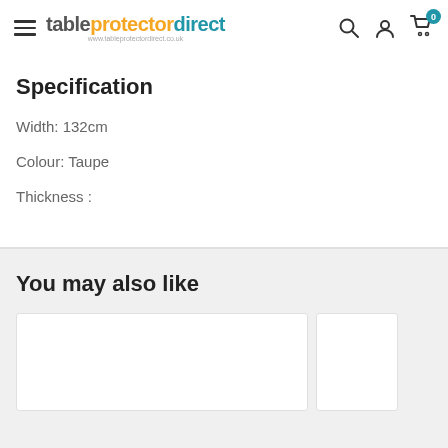tableprotectordirect — navigation header with hamburger menu, logo, search, account, and cart icons
Specification
Width: 132cm
Colour: Taupe
Thickness :
You may also like
[Figure (other): Two product card placeholders in a 'You may also like' carousel strip, white boxes on grey background]